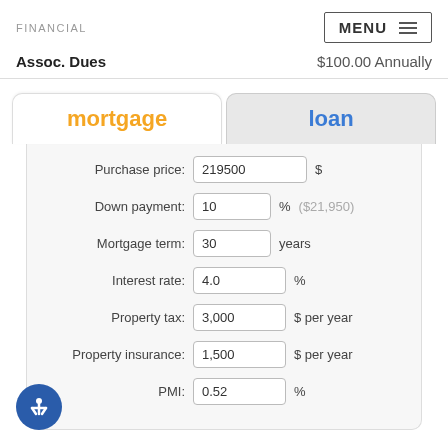FINANCIAL
MENU
Assoc. Dues   $100.00 Annually
mortgage   loan
| Field | Value | Unit |
| --- | --- | --- |
| Purchase price: | 219500 | $ |
| Down payment: | 10 | % ($21,950) |
| Mortgage term: | 30 | years |
| Interest rate: | 4.0 | % |
| Property tax: | 3,000 | $ per year |
| Property insurance: | 1,500 | $ per year |
| PMI: | 0.52 | % |